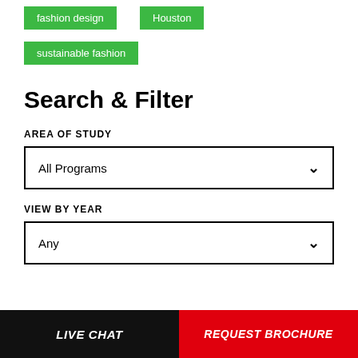fashion design
Houston
sustainable fashion
Search & Filter
AREA OF STUDY
All Programs
VIEW BY YEAR
Any
LIVE CHAT | REQUEST BROCHURE